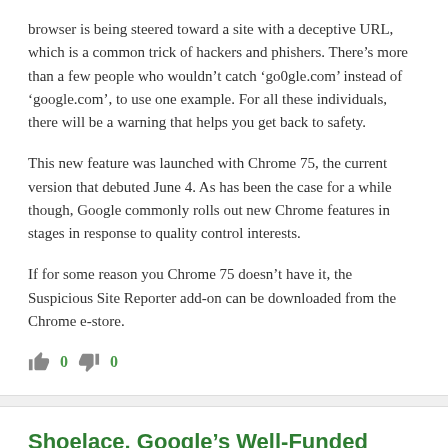browser is being steered toward a site with a deceptive URL, which is a common trick of hackers and phishers. There’s more than a few people who wouldn’t catch ‘go0gle.com’ instead of ‘google.com’, to use one example. For all these individuals, there will be a warning that helps you get back to safety.
This new feature was launched with Chrome 75, the current version that debuted June 4. As has been the case for a while though, Google commonly rolls out new Chrome features in stages in response to quality control interests.
If for some reason you Chrome 75 doesn’t have it, the Suspicious Site Reporter add-on can be downloaded from the Chrome e-store.
👍 0 👎 0
Shoelace, Google’s Well-Funded Foray into the World of Social Media